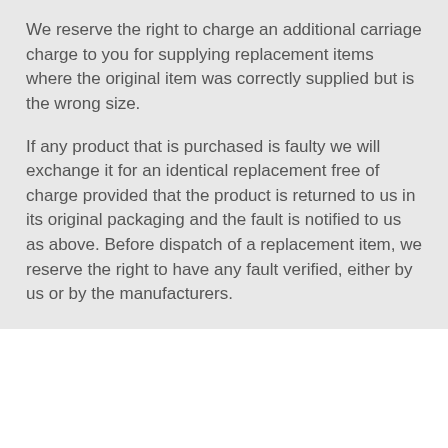We reserve the right to charge an additional carriage charge to you for supplying replacement items where the original item was correctly supplied but is the wrong size.
If any product that is purchased is faulty we will exchange it for an identical replacement free of charge provided that the product is returned to us in its original packaging and the fault is notified to us as above. Before dispatch of a replacement item, we reserve the right to have any fault verified, either by us or by the manufacturers.